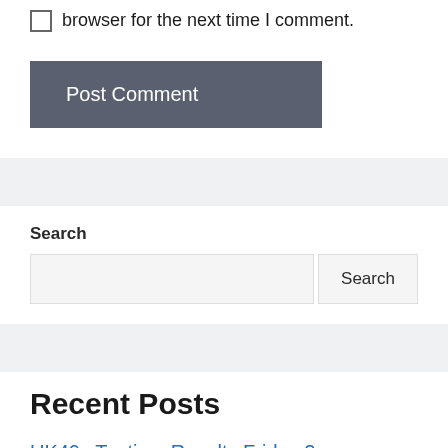browser for the next time I comment.
Post Comment
Search
Recent Posts
UK49s Teatime Results Friday 2 September 2022